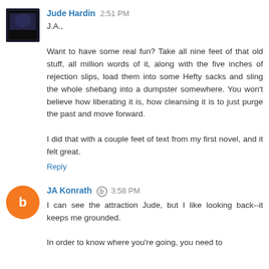Jude Hardin  2:51 PM
J.A.,

Want to have some real fun? Take all nine feet of that old stuff, all million words of it, along with the five inches of rejection slips, load them into some Hefty sacks and sling the whole shebang into a dumpster somewhere. You won't believe how liberating it is, how cleansing it is to just purge the past and move forward.

I did that with a couple feet of text from my first novel, and it felt great.
Reply
JA Konrath  3:58 PM
I can see the attraction Jude, but I like looking back--it keeps me grounded.

In order to know where you're going, you need to